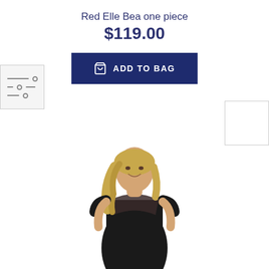Red Elle Bea one piece
$119.00
[Figure (screenshot): ADD TO BAG button in navy blue with shopping bag icon]
[Figure (photo): Thumbnail with filter/sort icon lines on the left side]
[Figure (photo): White thumbnail square on the right side]
[Figure (photo): Female model wearing a black one-piece swimsuit with mesh neckline panel, smiling, blonde hair]